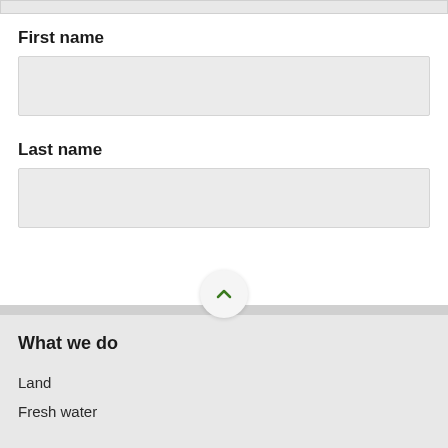First name
Last name
What we do
Land
Fresh water